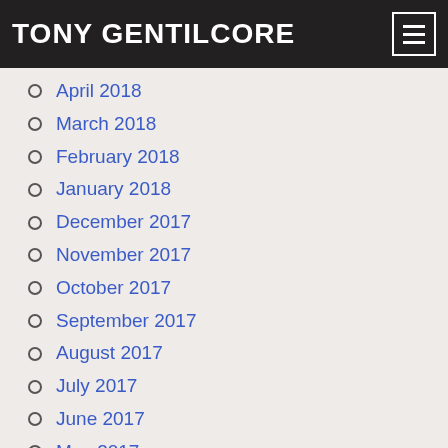TONY GENTILCORE
April 2018
March 2018
February 2018
January 2018
December 2017
November 2017
October 2017
September 2017
August 2017
July 2017
June 2017
May 2017
April 2017
March 2017
February 2017
January 2017
December 2016
November 2016
October 2016